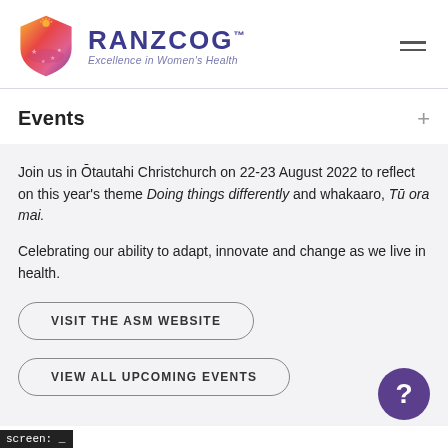[Figure (logo): RANZCOG logo: shield-shaped icon with gradient colors (orange, red, pink, purple) with stars, and text 'RANZCOG™ Excellence in Women's Health']
Events
Join us in Ōtautahi Christchurch on 22-23 August 2022 to reflect on this year's theme Doing things differently and whakaaro, Tū ora mai.
Celebrating our ability to adapt, innovate and change as we live in health.
VISIT THE ASM WEBSITE
VIEW ALL UPCOMING EVENTS
screen: _